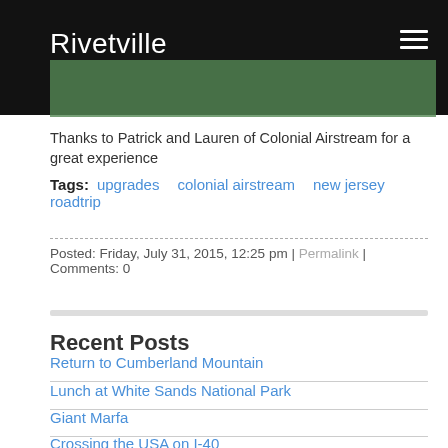Rivetville
[Figure (photo): Dark header image with grass visible, partially covered by dark overlay. Site header background photo.]
Thanks to Patrick and Lauren of Colonial Airstream for a great experience
Tags: upgrades  colonial airstream  new jersey  roadtrip
Posted: Friday, July 31, 2015, 12:25 pm | Permalink | Comments: 0
Recent Posts
Return to Cumberland Mountain
Lunch at White Sands National Park
Giant Marfa
Crossing the USA on I-40